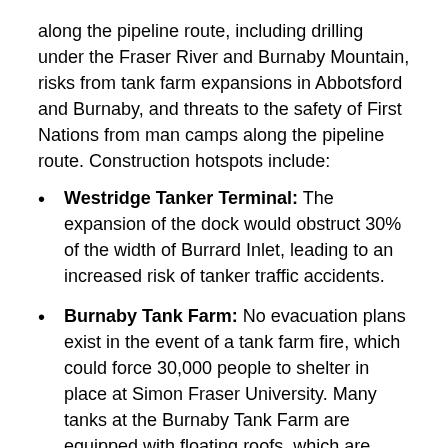along the pipeline route, including drilling under the Fraser River and Burnaby Mountain, risks from tank farm expansions in Abbotsford and Burnaby, and threats to the safety of First Nations from man camps along the pipeline route. Construction hotspots include:
Westridge Tanker Terminal: The expansion of the dock would obstruct 30% of the width of Burrard Inlet, leading to an increased risk of tanker traffic accidents.
Burnaby Tank Farm: No evacuation plans exist in the event of a tank farm fire, which could force 30,000 people to shelter in place at Simon Fraser University. Many tanks at the Burnaby Tank Farm are equipped with floating roofs, which are outdated infrastructure that has been proven to fail.
Burnaby Mountain Tunnel: Geologists remain concerned of the potential for serious landslips at the location of...